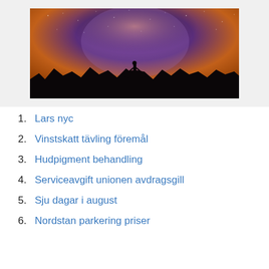[Figure (photo): Night sky photo with silhouette of a person standing on a hill, milky way visible above with purple and orange gradient sky]
1. Lars nyc
2. Vinstskatt tävling föremål
3. Hudpigment behandling
4. Serviceavgift unionen avdragsgill
5. Sju dagar i august
6. Nordstan parkering priser